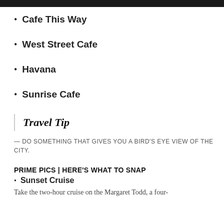Cafe This Way
West Street Cafe
Havana
Sunrise Cafe
Travel Tip
— DO SOMETHING THAT GIVES YOU A BIRD'S EYE VIEW OF THE CITY.
PRIME PICS | HERE'S WHAT TO SNAP
Sunset Cruise
Take the two-hour cruise on the Margaret Todd, a four-